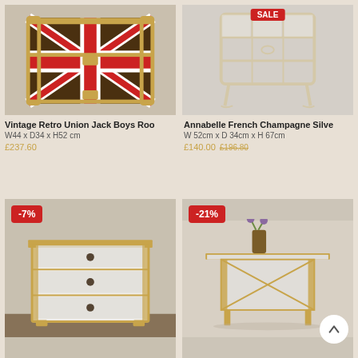[Figure (photo): Vintage Retro Union Jack Boys Room trunk/chest with gold trim]
Vintage Retro Union Jack Boys Roo
W44 x D34 x H52 cm
£237.60
[Figure (photo): Annabelle French Champagne Silver mirrored side table/chair]
Annabelle French Champagne Silve
W 52cm x D 34cm x H 67cm
£140.00  £196.80
[Figure (photo): Mirrored 3-drawer chest with gold trim, -7% discount badge]
[Figure (photo): Mirrored side table with gold trim and plant on top, -21% discount badge]